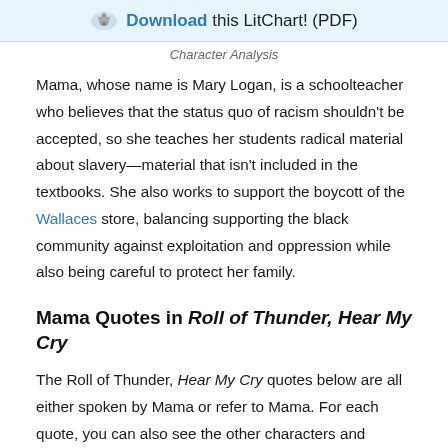Download this LitChart! (PDF)
Character Analysis
Mama, whose name is Mary Logan, is a schoolteacher who believes that the status quo of racism shouldn't be accepted, so she teaches her students radical material about slavery—material that isn't included in the textbooks. She also works to support the boycott of the Wallaces store, balancing supporting the black community against exploitation and oppression while also being careful to protect her family.
Mama Quotes in Roll of Thunder, Hear My Cry
The Roll of Thunder, Hear My Cry quotes below are all either spoken by Mama or refer to Mama. For each quote, you can also see the other characters and themes related to